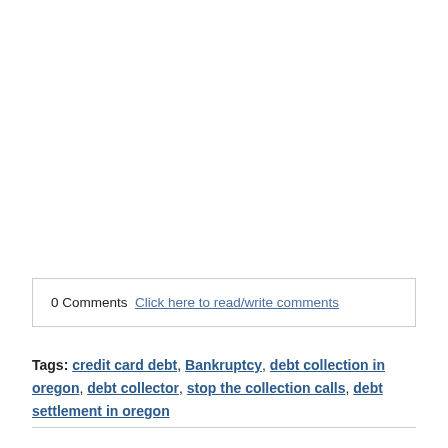0 Comments  Click here to read/write comments
Tags: credit card debt, Bankruptcy, debt collection in oregon, debt collector, stop the collection calls, debt settlement in oregon